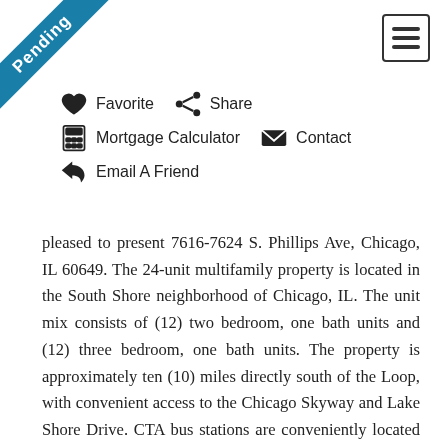[Figure (other): Pending ribbon banner in teal/blue diagonal across the top-left corner]
[Figure (other): Hamburger menu icon (three horizontal lines) in a bordered square, top-right corner]
❤ Favorite   ⋖ Share
⊞ Mortgage Calculator   ✉ Contact
↩ Email A Friend
pleased to present 7616-7624 S. Phillips Ave, Chicago, IL 60649. The 24-unit multifamily property is located in the South Shore neighborhood of Chicago, IL. The unit mix consists of (12) two bedroom, one bath units and (12) three bedroom, one bath units. The property is approximately ten (10) miles directly south of the Loop, with convenient access to the Chicago Skyway and Lake Shore Drive. CTA bus stations are conveniently located on 76th St, which is walking distance from the property. The 75th St. (Grand Crossing) Metra station is also within walking distance. Additionally, Midway International Airport is approximately eleven (11) miles